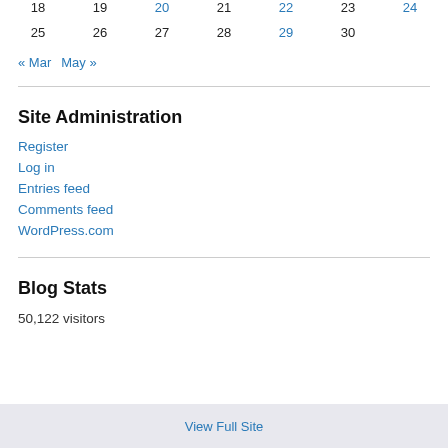| 18 | 19 | 20 | 21 | 22 | 23 | 24 |
| 25 | 26 | 27 | 28 | 29 | 30 |  |
« Mar   May »
Site Administration
Register
Log in
Entries feed
Comments feed
WordPress.com
Blog Stats
50,122 visitors
View Full Site